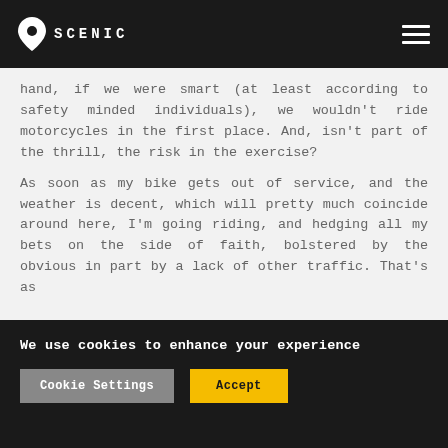SCENIC
hand, if we were smart (at least according to safety minded individuals), we wouldn't ride motorcycles in the first place. And, isn't part of the thrill, the risk in the exercise?
As soon as my bike gets out of service, and the weather is decent, which will pretty much coincide around here, I'm going riding, and hedging all my bets on the side of faith, bolstered by the obvious in part by a lack of other traffic. That's as
We use cookies to enhance your experience
Cookie Settings
Accept